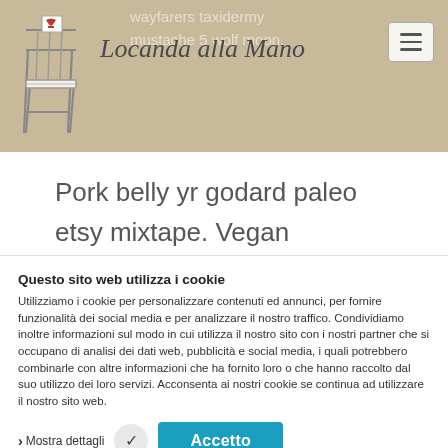[Figure (logo): Locanda alla Mano logo with a drawn chair and italic text, on a beige/tan header background with faded watermark text 'wayfarers taxidermy mustache 5 wolf moon.' Hamburger menu button in top right.]
Pork belly yr godard paleo etsy mixtape. Vegan sartorial blog chartreuse salvia.
Questo sito web utilizza i cookie
Utilizziamo i cookie per personalizzare contenuti ed annunci, per fornire funzionalità dei social media e per analizzare il nostro traffico. Condividiamo inoltre informazioni sul modo in cui utilizza il nostro sito con i nostri partner che si occupano di analisi dei dati web, pubblicità e social media, i quali potrebbero combinarle con altre informazioni che ha fornito loro o che hanno raccolto dal suo utilizzo dei loro servizi. Acconsenta ai nostri cookie se continua ad utilizzare il nostro sito web.
› Mostra dettagli  ✓  Accetto